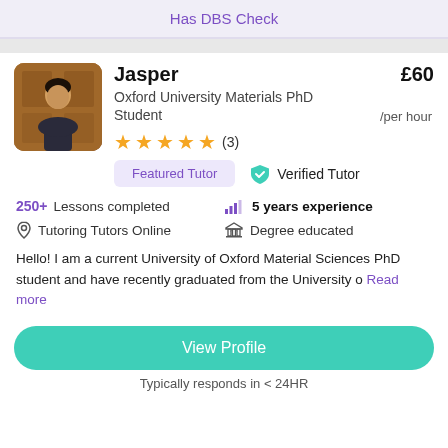Has DBS Check
[Figure (photo): Profile photo of Jasper, a young man in a suit standing in front of wooden doors]
Jasper
£60 /per hour
Oxford University Materials PhD Student
★★★★★ (3)
Featured Tutor
Verified Tutor
250+ Lessons completed
5 years experience
Tutoring Tutors Online
Degree educated
Hello! I am a current University of Oxford Material Sciences PhD student and have recently graduated from the University o Read more
View Profile
Typically responds in < 24HR